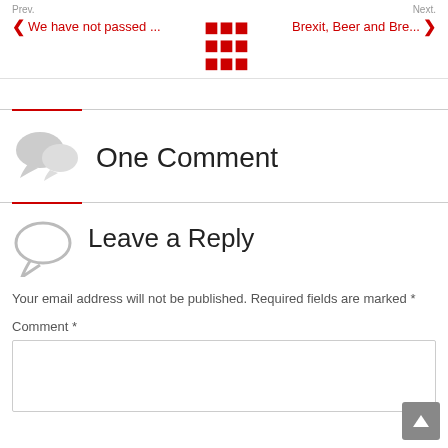Prev. | We have not passed ... | [grid] | Brexit, Beer and Bre... | Next.
One Comment
Leave a Reply
Your email address will not be published. Required fields are marked *
Comment *